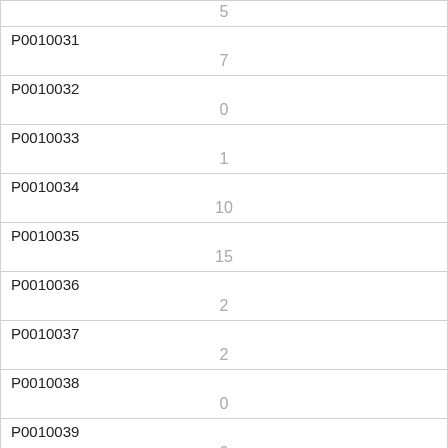| ID | Value |
| --- | --- |
|  | 5 |
| P0010031 | 7 |
| P0010032 | 0 |
| P0010033 | 1 |
| P0010034 | 10 |
| P0010035 | 15 |
| P0010036 | 2 |
| P0010037 | 2 |
| P0010038 | 0 |
| P0010039 | 0 |
| P0010040 |  |